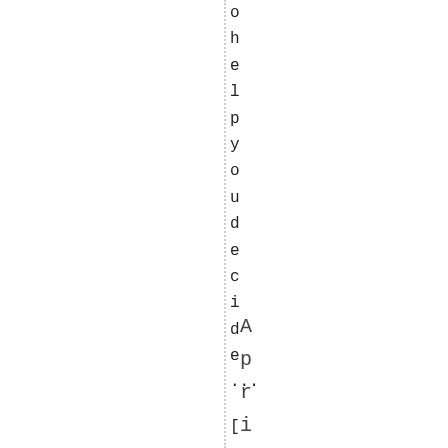o h e l p y o u d e c i d e ... [ ... ] April 10th
April 10th